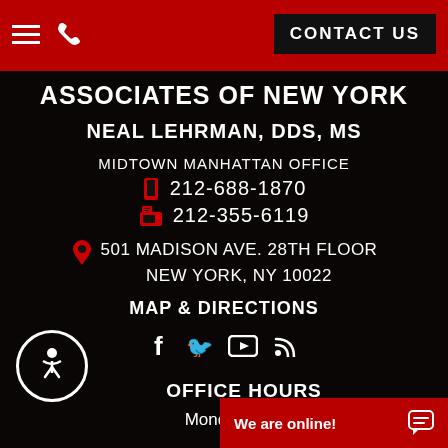CONTACT US
ASSOCIATES OF NEW YORK
NEAL LEHRMAN, DDS, MS
MIDTOWN MANHATTAN OFFICE
212-688-1870
212-355-6119
501 MADISON AVE. 28TH FLOOR
NEW YORK, NY 10022
MAP & DIRECTIONS
OFFICE HOURS
Monday – Frid…